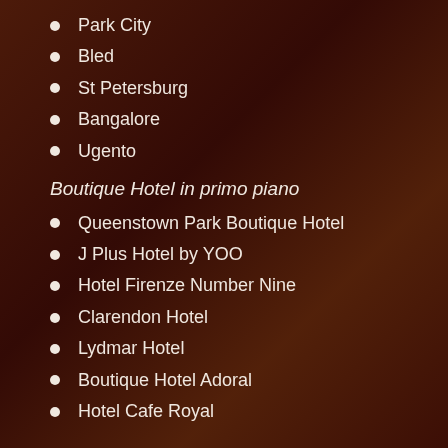Park City
Bled
St Petersburg
Bangalore
Ugento
Boutique Hotel in primo piano
Queenstown Park Boutique Hotel
J Plus Hotel by YOO
Hotel Firenze Number Nine
Clarendon Hotel
Lydmar Hotel
Boutique Hotel Adoral
Hotel Cafe Royal